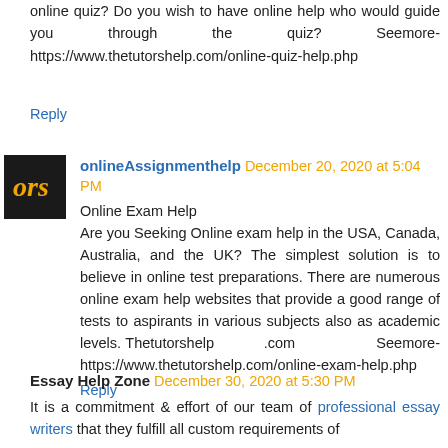online quiz? Do you wish to have online help who would guide you through the quiz? Seemore- https://www.thetutorshelp.com/online-quiz-help.php
Reply
[Figure (logo): Dark square avatar with orange italic text 'ors']
onlineAssignmenthelp December 20, 2020 at 5:04 PM
Online Exam Help
Are you Seeking Online exam help in the USA, Canada, Australia, and the UK? The simplest solution is to believe in online test preparations. There are numerous online exam help websites that provide a good range of tests to aspirants in various subjects also as academic levels. Thetutorshelp .com Seemore- https://www.thetutorshelp.com/online-exam-help.php
Reply
Essay Help Zone December 30, 2020 at 5:30 PM
It is a commitment & effort of our team of professional essay writers that they fulfill all custom requirements of